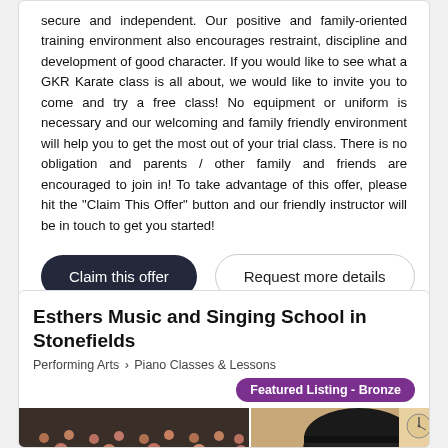secure and independent. Our positive and family-oriented training environment also encourages restraint, discipline and development of good character. If you would like to see what a GKR Karate class is all about, we would like to invite you to come and try a free class! No equipment or uniform is necessary and our welcoming and family friendly environment will help you to get the most out of your trial class. There is no obligation and parents / other family and friends are encouraged to join in! To take advantage of this offer, please hit the "Claim This Offer" button and our friendly instructor will be in touch to get you started!
Claim this offer
Request more details
Esthers Music and Singing School in Stonefields
Performing Arts > Piano Classes & Lessons
Featured Listing - Bronze
[Figure (photo): Photo collage showing a music school scene with students in an audience and a grand piano]